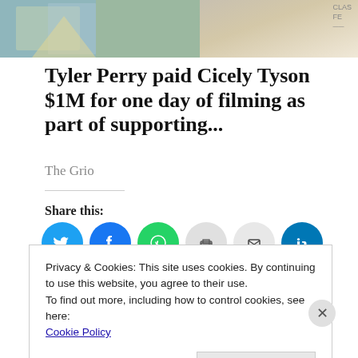[Figure (photo): Top banner photo strip showing people at what appears to be a film festival, partially cropped]
Tyler Perry paid Cicely Tyson $1M for one day of filming as part of supporting...
The Grio
Share this:
[Figure (infographic): Row of social media share icon circles: Twitter, Facebook, WhatsApp, Print, Email, LinkedIn, Reddit, Tumblr, Pinterest, Pocket, Telegram, Skype]
Loading...
Privacy & Cookies: This site uses cookies. By continuing to use this website, you agree to their use.
To find out more, including how to control cookies, see here: Cookie Policy
Close and accept